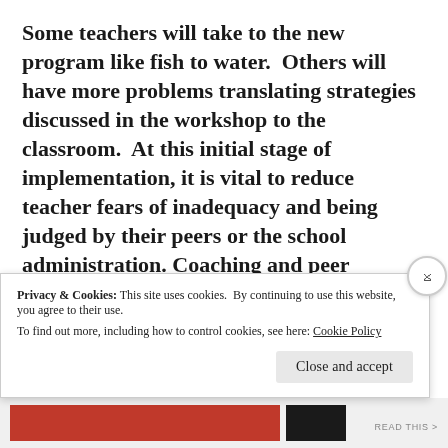Some teachers will take to the new program like fish to water. Others will have more problems translating strategies discussed in the workshop to the classroom. At this initial stage of implementation, it is vital to reduce teacher fears of inadequacy and being judged by their peers or the school administration. Coaching and peer support become essential to the success of adoption by all teachers involved in this PD. One option is to establish a visitation schedule where teachers observe
Privacy & Cookies: This site uses cookies. By continuing to use this website, you agree to their use. To find out more, including how to control cookies, see here: Cookie Policy
Close and accept